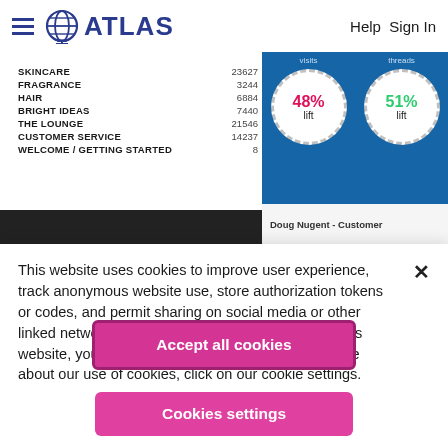ATLAS   Help  Sign In
[Figure (screenshot): Screenshot of ATLAS website showing category navigation with thread counts (SKINCARE 23627, FRAGRANCE 3244, HAIR 6884, BRIGHT IDEAS 7440, THE LOUNGE 21546, CUSTOMER SERVICE 14237, WELCOME/GETTING STARTED 8) and an infographic showing 48% lift in visits and 51% lift in threads for Social Success Services subscribers vs. non subscribers]
This website uses cookies to improve user experience, track anonymous website use, store authorization tokens or codes, and permit sharing on social media or other linked networks. By continuing to browse and use this website, you accept the use of cookies. To read more about our use of cookies, click on our cookie settings.
Accept all cookies
Cookies settings